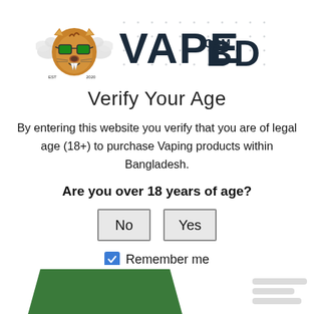[Figure (logo): VapeBD logo with tiger mascot wearing green sunglasses blowing smoke, and VAPE.COM.BD text in dark navy block letters. Est 2020.]
Verify Your Age
By entering this website you verify that you are of legal age (18+) to purchase Vaping products within Bangladesh.
Are you over 18 years of age?
No   Yes
Remember me
[Figure (other): Partially visible green trapezoidal shape at bottom left and blurred text lines at bottom right — product/site preview cut off at bottom of page.]